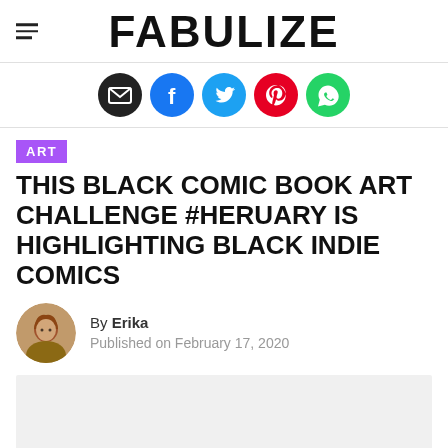FABULIZE
[Figure (infographic): Social media share icons: email (black), Facebook (blue), Twitter (cyan), Pinterest (red), WhatsApp (green)]
ART
THIS BLACK COMIC BOOK ART CHALLENGE #HERUARY IS HIGHLIGHTING BLACK INDIE COMICS
By Erika
Published on February 17, 2020
[Figure (photo): Light gray placeholder image area]